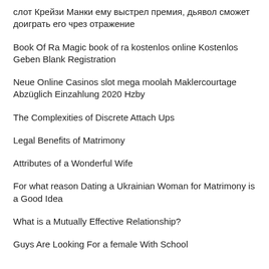слот Крейзи Манки ему выстрел премия, дьявол сможет доиграть его чрез отражение
Book Of Ra Magic book of ra kostenlos online Kostenlos Geben Blank Registration
Neue Online Casinos slot mega moolah Maklercourtage Abzüglich Einzahlung 2020 Hzby
The Complexities of Discrete Attach Ups
Legal Benefits of Matrimony
Attributes of a Wonderful Wife
For what reason Dating a Ukrainian Woman for Matrimony is a Good Idea
What is a Mutually Effective Relationship?
Guys Are Looking For a female With School